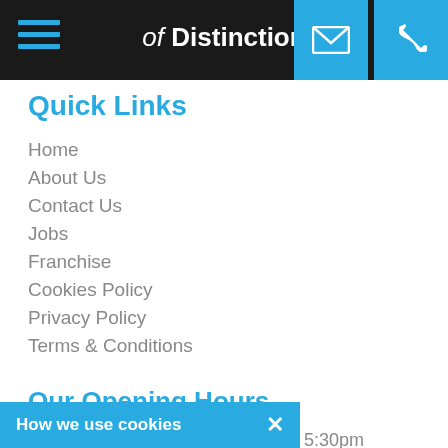of Distinction
Quick Links
Home
About Us
Contact Us
Jobs
Franchise
Cookies Policy
Privacy Policy
Terms & Conditions
Our Opening Hours
Monday: 8:30am - 5:30pm
Tuesday: 8:30am - 5:30pm
Wednesday: 8:30am - 5:30pm
8:30am - 5:30pm
8:30am - 5:30pm
How we use cookies ✕